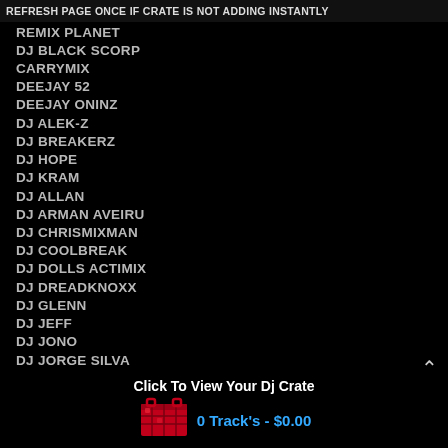REFRESH PAGE ONCE IF CRATE IS NOT ADDING INSTANTLY
REMIX PLANET
DJ BLACK SCORP
CARRYMIX
DEEJAY 52
DEEJAY ONINZ
DJ ALEK-Z
DJ BREAKERZ
DJ HOPE
DJ KRAM
DJ ALLAN
DJ ARMAN AVEIRU
DJ CHRISMIXMAN
DJ COOLBREAK
DJ DOLLS ACTIMIX
DJ DREADKNOXX
DJ GLENN
DJ JEFF
DJ JONO
DJ JORGE SILVA
Click To View Your Dj Crate
[Figure (illustration): Red milk crate icon]
0 Track's - $0.00